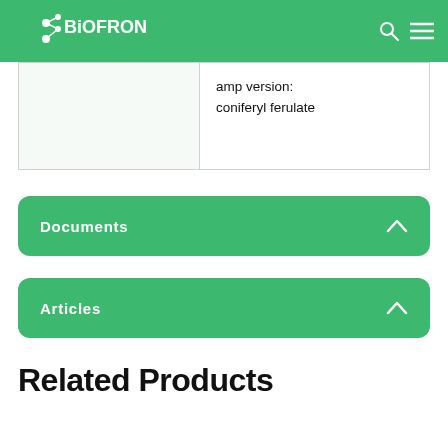BIOFRON
|  | amp version:
coniferyl ferulate |
Documents
Articles
Related Products